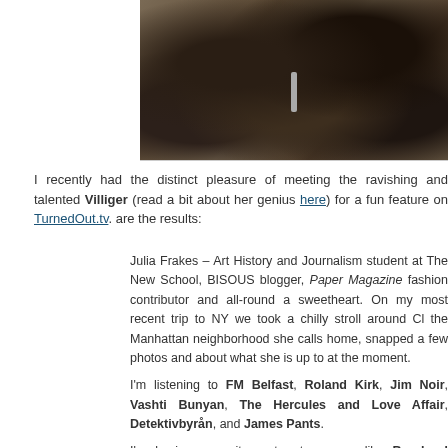[Figure (photo): Close-up photo of a textured fur or fur-like coat, dark brown and beige mottled pattern, with a metal zipper or clasp visible in the center]
I recently had the distinct pleasure of meeting the ravishing and talented Villiger (read a bit about her genius here) for a fun feature on TurnedOut.tv. are the results:
Julia Frakes – Art History and Journalism student at The New School, BISOUS blogger, Paper Magazine fashion contributor and all-round sweetheart. On my most recent trip to NY we took a chilly stroll around the Manhattan neighborhood she calls home, snapped a few photos and about what she is up to at the moment.
I'm listening to FM Belfast, Roland Kirk, Jim Noir, Vashti Bunyan, The Hercules and Love Affair, Detektivbyrån, and James Pants.
I'm buying cozy items to stay warm like Bernhard Willhelm scarves, crue Marni rainboots, Lindsey Thornburg cloaks, Stephen Jones hats, from Basel socks, and Luella's Eastwick-witchy Ingals trapeze coat.
I'm reading Buckminster Fuller, Jane Austen, David Wolfe, Joan Didio
I'm excited about my editor Kim Hastreiter's new Geoffrey Beane [Assouline] and a jaunt home to the country next month with Pure Food & Thanksgiving take-away in tow!